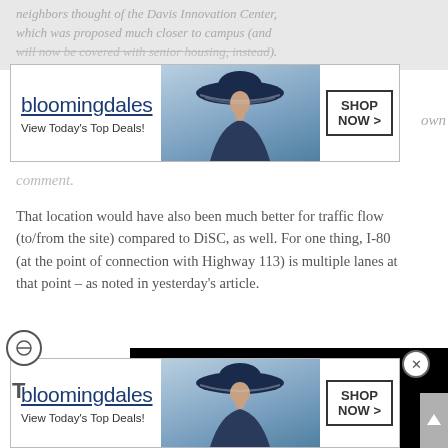neighbors thought of the Davis Innovation Center, which was proposed much closer to campus (and will now be covered with senior housing, instead).
[Figure (screenshot): Bloomingdale's advertisement banner: 'View Today's Top Deals!' with woman in wide-brim hat and 'SHOP NOW >' button]
own
comment.
That location would have also been much better for traffic flow (to/from the site) compared to DiSC, as well. For one thing, I-80 (at the point of connection with Highway 113) is multiple lanes at that point – as noted in yesterday's article.
In addition, commuters fro[m...] up and down Road 102 to [...] access the Davis Innovati[on...] with DiSC. In fact, they wo[uld not enter] the city at all.
Nor would anyone need to travel through the entire eastern half of the city (and downtown), if they actually had some kind of connection with UCD.
[Figure (screenshot): Black video pop-up overlay panel]
[Figure (screenshot): Bloomingdale's advertisement banner bottom: 'View Today's Top Deals!' with woman in wide-brim hat and 'SHOP NOW >' button]